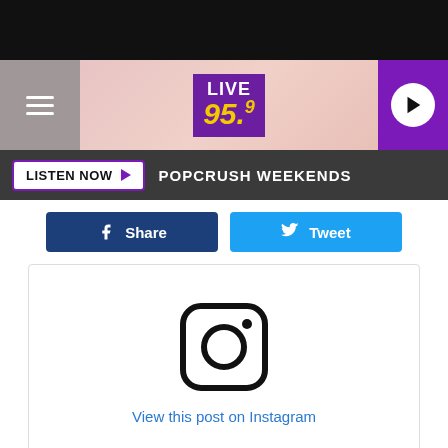[Figure (screenshot): Top black header bar]
[Figure (logo): Live 95.9 radio station header with hamburger menu on left, logo in center, play button on right]
LISTEN NOW  POPCRUSH WEEKENDS
Share
Tweet
[Figure (screenshot): Instagram embed placeholder showing Instagram logo icon and 'View this post on Instagram' link text]